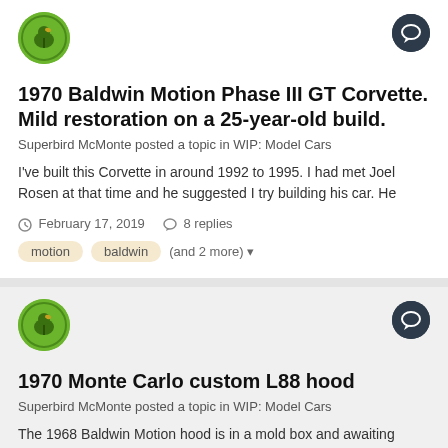[Figure (logo): Green circular logo with duck/bird illustration - Superbird McMonte avatar]
[Figure (other): Dark navy chat/reply icon button in top right corner]
1970 Baldwin Motion Phase III GT Corvette. Mild restoration on a 25-year-old build.
Superbird McMonte posted a topic in WIP: Model Cars
I've built this Corvette in around 1992 to 1995. I had met Joel Rosen at that time and he suggested I try building his car. He
February 17, 2019   8 replies
motion
baldwin
(and 2 more)
[Figure (logo): Green circular logo with duck/bird illustration - Superbird McMonte avatar (second post)]
[Figure (other): Dark navy chat/reply icon button in top right corner (second post)]
1970 Monte Carlo custom L88 hood
Superbird McMonte posted a topic in WIP: Model Cars
The 1968 Baldwin Motion hood is in a mold box and awaiting silicon molding. But that won't happen until Wednesday night. In